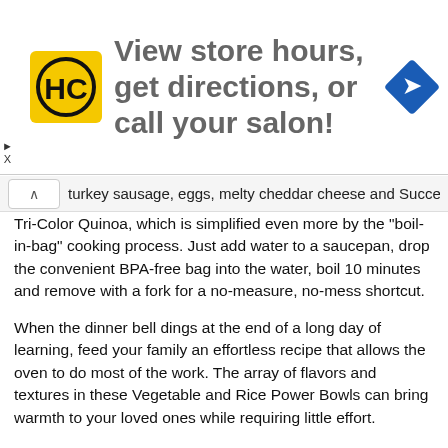[Figure (other): Advertisement banner: HC logo on yellow background, text 'View store hours, get directions, or call your salon!', blue direction sign icon on right]
turkey sausage, eggs, melty cheddar cheese and Success Tri-Color Quinoa, which is simplified even more by the "boil-in-bag" cooking process. Just add water to a saucepan, drop the convenient BPA-free bag into the water, boil 10 minutes and remove with a fork for a no-measure, no-mess shortcut.
When the dinner bell dings at the end of a long day of learning, feed your family an effortless recipe that allows the oven to do most of the work. The array of flavors and textures in these Vegetable and Rice Power Bowls can bring warmth to your loved ones while requiring little effort.
Sweet and buttery flavors of maple-roasted sweet potatoes, butternut squash and beets pair with the convenience, taste, texture and quality of Success Jasmine Rice, lentils, pumpkin seeds, goat cheese and balsamic vinaigrette for an abundance of flavors that help recharge and refuel with loads of nutrients